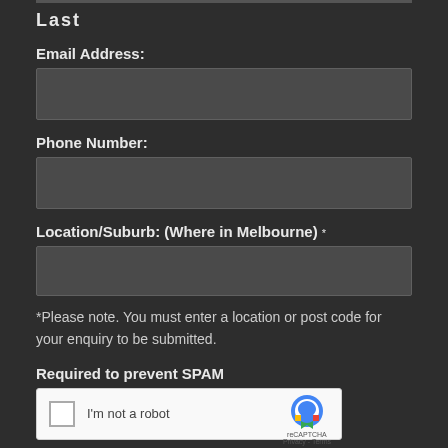Last
Email Address:
Phone Number:
Location/Suburb: (Where in Melbourne) *
*Please note. You must enter a location or post code for your enquiry to be submitted.
Required to prevent SPAM
[Figure (other): reCAPTCHA widget with checkbox and 'I'm not a robot' text and reCAPTCHA logo]